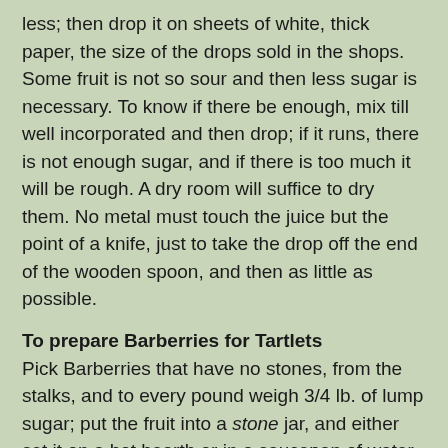less; then drop it on sheets of white, thick paper, the size of the drops sold in the shops. Some fruit is not so sour and then less sugar is necessary. To know if there be enough, mix till well incorporated and then drop; if it runs, there is not enough sugar, and if there is too much it will be rough. A dry room will suffice to dry them. No metal must touch the juice but the point of a knife, just to take the drop off the end of the wooden spoon, and then as little as possible.
To prepare Barberries for Tartlets
Pick Barberries that have no stones, from the stalks, and to every pound weigh 3/4 lb. of lump sugar; put the fruit into a stone jar, and either set it on a hot hearth or in a saucepan of water, and let them simmer very slowly till soft; put them and the sugar into a preserving-pan, and boil them gently 15 minutes. Use no metal but silver.
Barberries in Bunches
Have ready bits of flat white wood, 3 inches long and 1/4 inch wide. Tie the stalks of the fruit on the stick from within an inch of one end to beyond the other, so as to make them look handsome. Simmer them in some syrup two